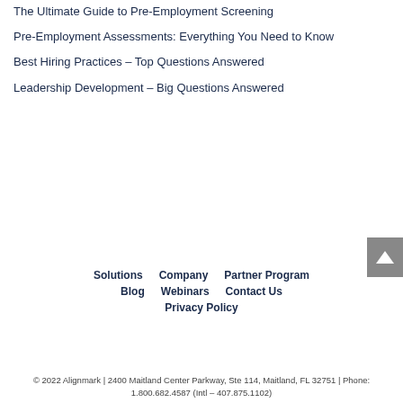The Ultimate Guide to Pre-Employment Screening
Pre-Employment Assessments: Everything You Need to Know
Best Hiring Practices – Top Questions Answered
Leadership Development – Big Questions Answered
Solutions   Company   Partner Program   Blog   Webinars   Contact Us   Privacy Policy
© 2022 Alignmark | 2400 Maitland Center Parkway, Ste 114, Maitland, FL 32751 | Phone: 1.800.682.4587 (Intl – 407.875.1102)